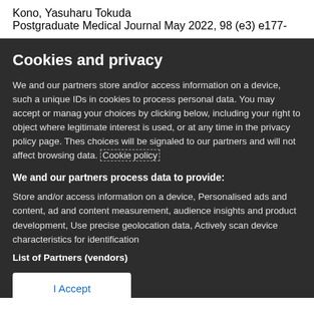Kono, Yasuharu Tokuda
Postgraduate Medical Journal May 2022, 98 (e3) e177-
Cookies and privacy
We and our partners store and/or access information on a device, such a unique IDs in cookies to process personal data. You may accept or manage your choices by clicking below, including your right to object where legitimate interest is used, or at any time in the privacy policy page. These choices will be signaled to our partners and will not affect browsing data. Cookie policy
We and our partners process data to provide:
Store and/or access information on a device, Personalised ads and content, ad and content measurement, audience insights and product development, Use precise geolocation data, Actively scan device characteristics for identification
List of Partners (vendors)
I Accept